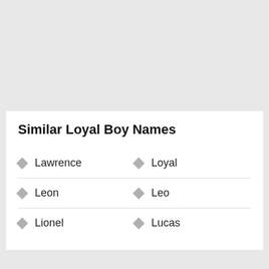Similar Loyal Boy Names
Lawrence
Loyal
Leon
Leo
Lionel
Lucas